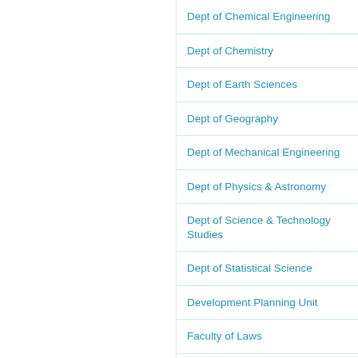Dept of Chemical Engineering
Dept of Chemistry
Dept of Earth Sciences
Dept of Geography
Dept of Mechanical Engineering
Dept of Physics & Astronomy
Dept of Science & Technology Studies
Dept of Statistical Science
Development Planning Unit
Faculty of Laws
The Bartlett School of Architecture
The Bartlett School of Planning
The Bartlett School of Sustainable Constr…